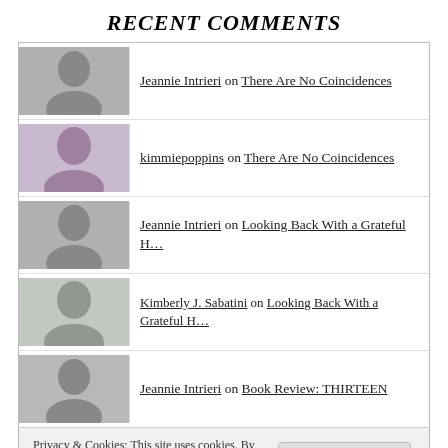RECENT COMMENTS
Jeannie Intrieri on There Are No Coincidences
kimmiepoppins on There Are No Coincidences
Jeannie Intrieri on Looking Back With a Grateful H…
Kimberly J. Sabatini on Looking Back With a Grateful H…
Jeannie Intrieri on Book Review: THIRTEEN
Privacy & Cookies: This site uses cookies. By continuing to use this website, you agree to their use.
To find out more, including how to control cookies, see here: Cookie Policy
ARCHIVES